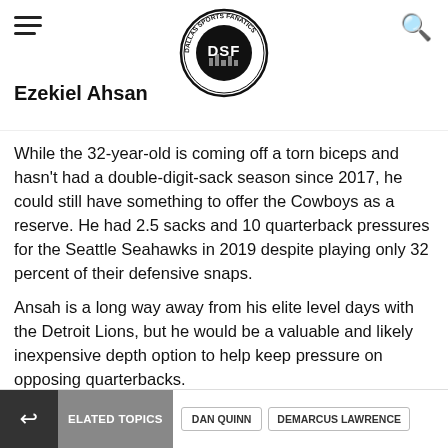DSF Dallas Sports Fanatics — Ezekiel Ahsan
While the 32-year-old is coming off a torn biceps and hasn't had a double-digit-sack season since 2017, he could still have something to offer the Cowboys as a reserve. He had 2.5 sacks and 10 quarterback pressures for the Seattle Seahawks in 2019 despite playing only 32 percent of their defensive snaps.
Ansah is a long way away from his elite level days with the Detroit Lions, but he would be a valuable and likely inexpensive depth option to help keep pressure on opposing quarterbacks.
RELATED TOPICS   DAN QUINN   DEMARCUS LAWRENCE